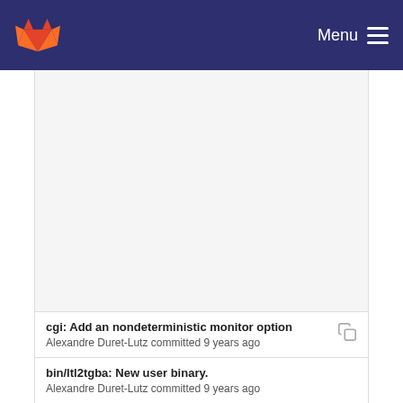Menu
cgi: Add an nondeterministic monitor option
Alexandre Duret-Lutz committed 9 years ago
bin/ltl2tgba: New user binary.
Alexandre Duret-Lutz committed 9 years ago
Introduce a translator class.
Alexandre Duret-Lutz committed 9 years ago
postproc: Perform simulation on the BA in --high ...
Alexandre Duret-Lutz committed 9 years ago
simulation: Fix co-simulation and iterated simulati...
Alexandre Duret-Lutz committed 9 years ago